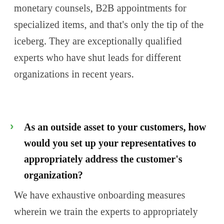monetary counsels, B2B appointments for specialized items, and that's only the tip of the iceberg. They are exceptionally qualified experts who have shut leads for different organizations in recent years.
As an outside asset to your customers, how would you set up your representatives to appropriately address the customer's organization?
We have exhaustive onboarding measures wherein we train the experts to appropriately introduce your image to